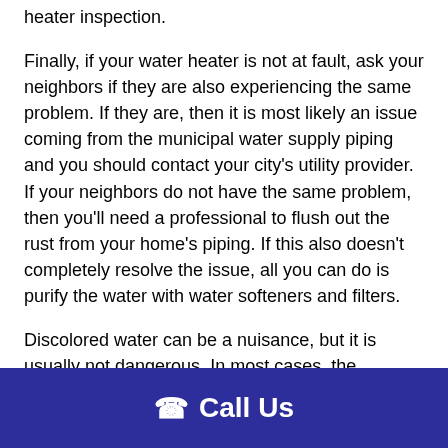heater inspection.
Finally, if your water heater is not at fault, ask your neighbors if they are also experiencing the same problem. If they are, then it is most likely an issue coming from the municipal water supply piping and you should contact your city's utility provider. If your neighbors do not have the same problem, then you'll need a professional to flush out the rust from your home's piping. If this also doesn't completely resolve the issue, all you can do is purify the water with water softeners and filters.
Discolored water can be a nuisance, but it is usually not dangerous. In most cases, the discoloration is due to rust in the pipes and is not a health hazard. If the problem persists after following these steps, call a professional plumber. They will be
Call Us